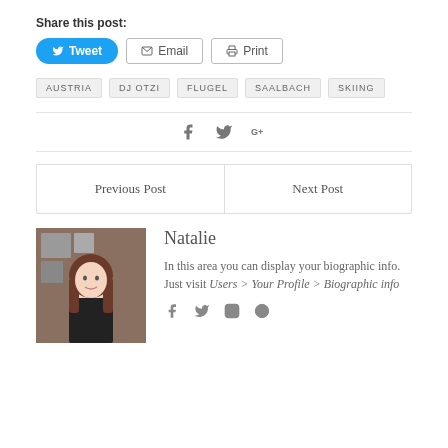Share this post:
Tweet  Email  Print
AUSTRIA
DJ OTZI
FLUGEL
SAALBACH
SKIING
[Figure (other): Social share icons: Facebook, Twitter, Google+]
| Previous Post | Next Post |
| --- | --- |
[Figure (photo): Author photo of Natalie, a woman in a black strapless outfit]
Natalie
In this area you can display your biographic info. Just visit Users > Your Profile > Biographic info
[Figure (other): Author social icons: Facebook, Twitter, Instagram, WordPress]